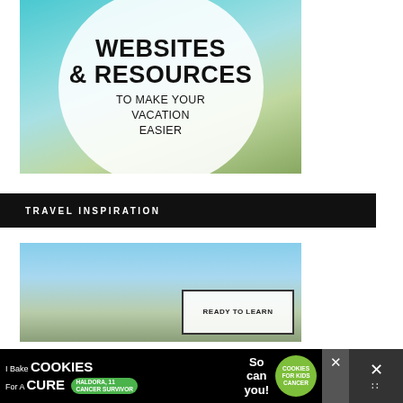[Figure (illustration): Travel blog graphic with beach/ocean background and large white circle overlay containing bold text: WEBSITES & RESOURCES TO MAKE YOUR VACATION EASIER]
TRAVEL INSPIRATION
[Figure (photo): Travel inspiration photo with sky and beach landscape, with a small white overlay box reading READY TO LEARN]
[Figure (infographic): Advertisement banner: I Bake COOKIES For A CURE - Haldora, 11 Cancer Survivor - So can you! - cookies for kids cancer]